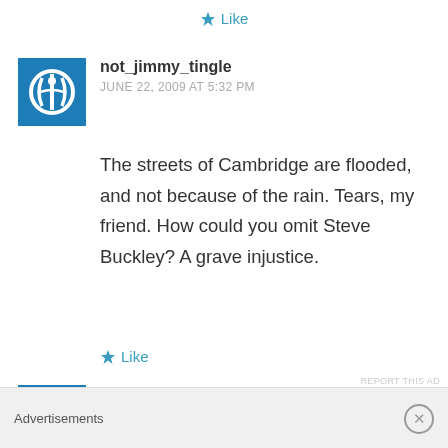★ Like
not_jimmy_tingle
JUNE 22, 2009 AT 5:32 PM
The streets of Cambridge are flooded, and not because of the rain. Tears, my friend. How could you omit Steve Buckley? A grave injustice.
★ Like
Jeff
Advertisements